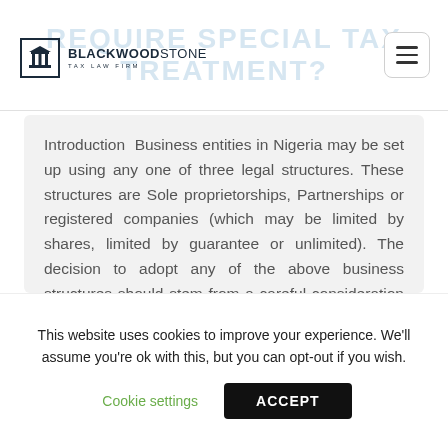REQUIRE SPECIAL TAX TREATMENT?
[Figure (logo): Blackwood Stone Tax Law Firm logo with building/column icon]
Introduction  Business entities in Nigeria may be set up using any one of three legal structures. These structures are Sole proprietorships, Partnerships or registered companies (which may be limited by shares, limited by guarantee or unlimited). The decision to adopt any of the above business structures should stem from a careful consideration of such factors [...]
This website uses cookies to improve your experience. We'll assume you're ok with this, but you can opt-out if you wish.